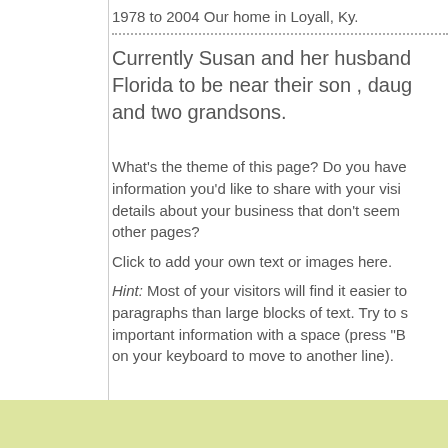1978 to 2004 Our home in Loyall, Ky.
Currently Susan and her husband Florida to be near their son , daug and two grandsons.
What's the theme of this page? Do you have information you'd like to share with your visi details about your business that don't seem other pages?
Click to add your own text or images here.
Hint: Most of your visitors will find it easier to paragraphs than large blocks of text. Try to s important information with a space (press "B on your keyboard to move to another line).